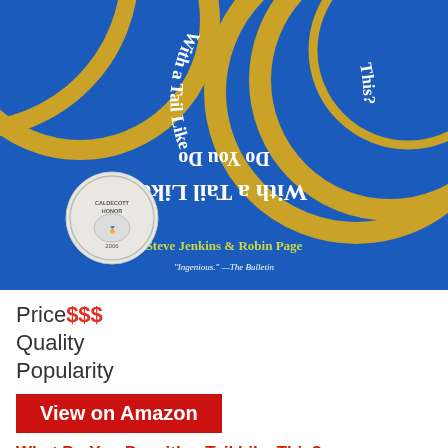[Figure (photo): Book cover of 'What Do You Do with a Tail Like This?' by Steve Jenkins & Robin Page. Blue background with gold circular arcs, white serif title text arranged in an arc (partially upside down), a Caldecott Honor medal on the left, author names in yellow-green, and a quote from The Bulletin.]
Price$$$
Quality
Popularity
View on Amazon
What Do You Do with a Tail Like This?